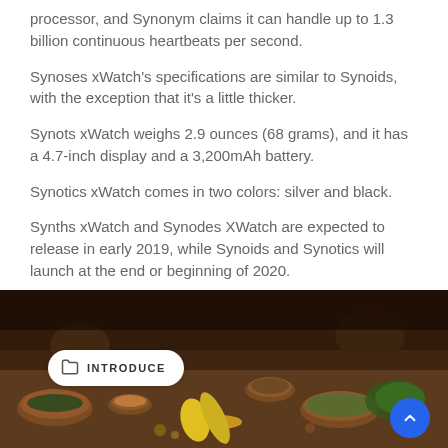processor, and Synonym claims it can handle up to 1.3 billion continuous heartbeats per second.
Synoses xWatch's specifications are similar to Synoids, with the exception that it's a little thicker.
Synots xWatch weighs 2.9 ounces (68 grams), and it has a 4.7-inch display and a 3,200mAh battery.
Synotics xWatch comes in two colors: silver and black.
Synths xWatch and Synodes XWatch are expected to release in early 2019, while Synoids and Synotics will launch at the end or beginning of 2020.
[Figure (photo): A food market scene showing various dishes, bowls of food, spices, and yellow peppers arranged on a table, with a dark warm-toned background. A white 'INTRODUCE' badge with folder icon is overlaid at bottom left, and a blue scroll-up button at bottom right.]